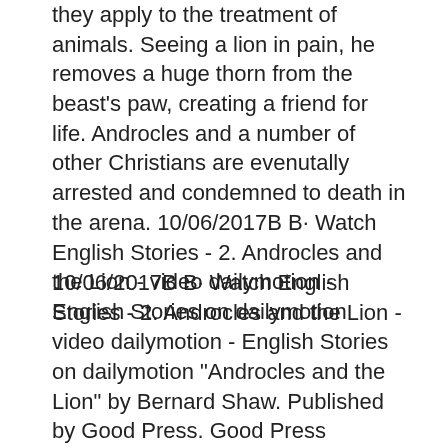they apply to the treatment of animals. Seeing a lion in pain, he removes a huge thorn from the beast's paw, creating a friend for life. Androcles and a number of other Christians are evenutally arrested and condemned to death in the arena. 10/06/2017B B· Watch English Stories - 2. Androcles and the Lion - video dailymotion - English Stories on dailymotion
10/06/2017B B· Watch English Stories - 2. Androcles and the Lion - video dailymotion - English Stories on dailymotion "Androcles and the Lion" by Bernard Shaw. Published by Good Press. Good Press publishes a wide range of titles that encompasses every genre.